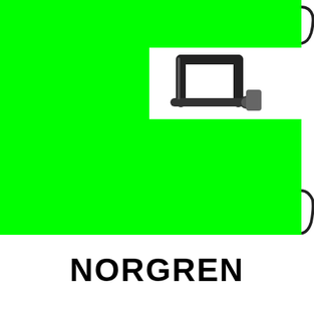[Figure (photo): Green background product page with a partial photo of a metal hand truck/trolley handle visible in the upper right area. Two white rectangular blocks appear on the far right edge (top and bottom). The green area fills most of the upper portion of the page.]
NORGREN